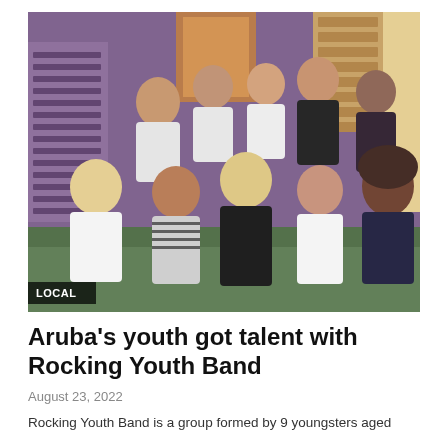[Figure (photo): Group photo of 9 youngsters and an adult woman (blonde) posing together inside or outside a colorful building with purple walls. The group includes teenagers of various backgrounds. A 'LOCAL' badge appears in the bottom-left corner of the photo.]
Aruba's youth got talent with Rocking Youth Band
August 23, 2022
Rocking Youth Band is a group formed by 9 youngsters aged